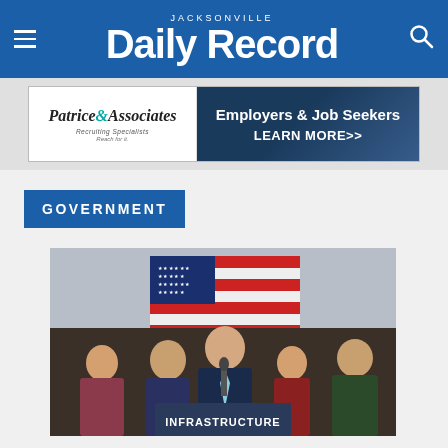JACKSONVILLE Daily Record
[Figure (photo): Advertisement banner for Patrice & Associates Recruiting Specialists - Employers & Job Seekers LEARN MORE>>]
GOVERNMENT
[Figure (photo): A man in a suit speaks at a podium with an 'INFRASTRUCTURE' sign in front of him, with an American flag in the background and several people standing around him including a sheriff's deputy.]